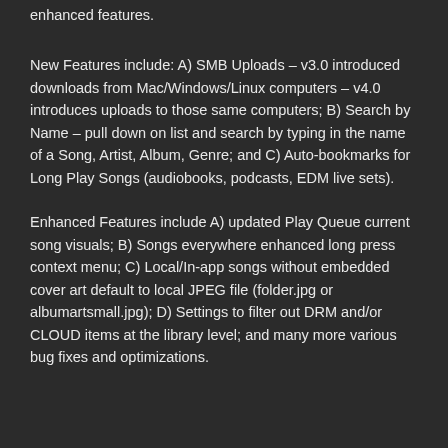enhanced features.
New Features include: A) SMB Uploads – v3.0 introduced downloads from Mac/Windows/Linux computers – v4.0 introduces uploads to those same computers; B) Search by Name – pull down on list and search by typing in the name of a Song, Artist, Album, Genre; and C) Auto-bookmarks for Long Play Songs (audiobooks, podcasts, EDM live sets).
Enhanced Features include A) updated Play Queue current song visuals; B) Songs everywhere enhanced long press context menu; C) Local/In-app songs without embedded cover art default to local JPEG file (folder.jpg or albumartsmall.jpg); D) Settings to filter out DRM and/or CLOUD items at the library level; and many more various bug fixes and optimizations.